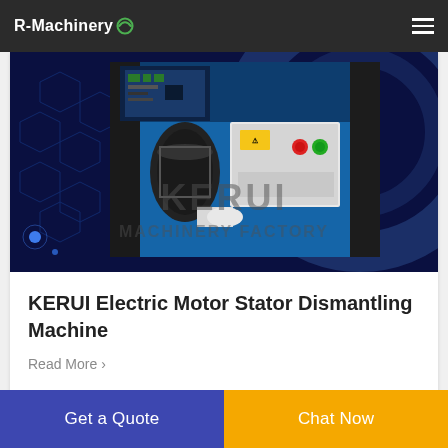R-Machinery
[Figure (photo): Industrial electric motor stator dismantling machine by KERUI Machinery Factory. Blue industrial machine with control panel showing red and green buttons, set against a dark navy background with hexagonal pattern and circular design. KERUI MACHINERY FACTORY text overlaid.]
KERUI Electric Motor Stator Dismantling Machine
Read More >
Get a Quote
Chat Now